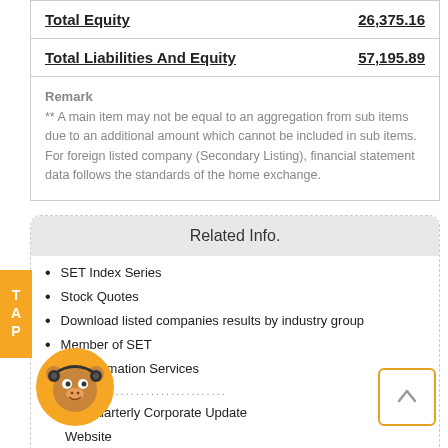| Total Equity | 26,375.16 |
| Total Liabilities And Equity | 57,195.89 |
Remark
** A main item may not be equal to an aggregation from sub items due to an additional amount which cannot be included in sub items. For foreign listed company (Secondary Listing), financial statement data follows the standards of the home exchange.
Related Info.
SET Index Series
Stock Quotes
Download listed companies results by industry group
Member of SET
SET Information Services
................................
ote Quarterly Corporate Update
Website